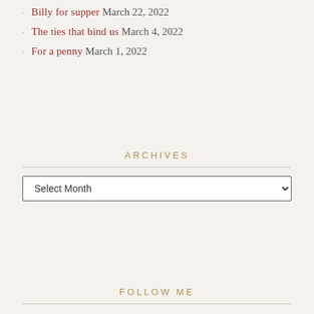Billy for supper March 22, 2022
The ties that bind us March 4, 2022
For a penny March 1, 2022
ARCHIVES
Select Month
FOLLOW ME